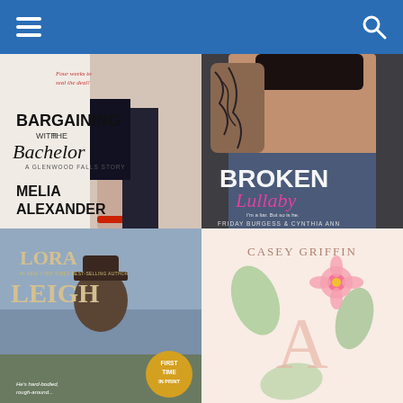Navigation header with menu and search icons
[Figure (photo): Book cover: Bargaining with the Bachelor by Melia Alexander. A Glenwood Falls Story. Shows a couple, woman in black dress and red heels, man in dark suit. Text: Four weeks to seal the deal!]
[Figure (photo): Book cover: Broken Lullaby by Friday Burgess & Cynthia Ann. Shows a young man with tattoos on his arm. Text: I'm a liar. But so is he.]
[Figure (photo): Book cover: Lora Leigh, #1 New York Times Bestselling Author. Shows a man in a cowboy hat. Text: He's hard-bodied, rough-around... First Time In Print.]
[Figure (photo): Book cover: Casey Griffin. Shows a light pastel background with floral elements and the letter A.]